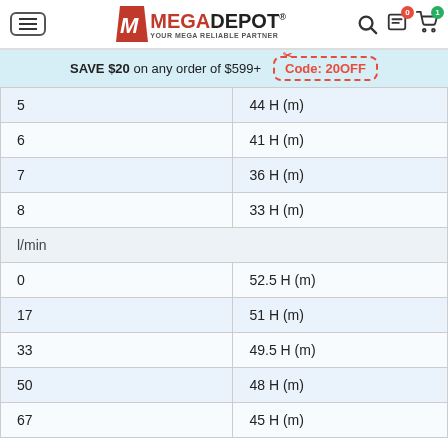MEGADEPOT® YOUR MEGA RELIABLE PARTNER
SAVE $20 on any order of $599+ Code: 20OFF
| 5 | 44 H (m) |
| 6 | 41 H (m) |
| 7 | 36 H (m) |
| 8 | 33 H (m) |
| l/min |  |
| 0 | 52.5 H (m) |
| 17 | 51 H (m) |
| 33 | 49.5 H (m) |
| 50 | 48 H (m) |
| 67 | 45 H (m) |